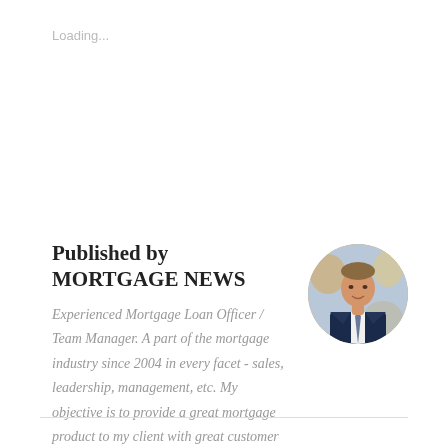Loading...
Published by MORTGAGE NEWS
[Figure (photo): Circular profile photo of a man in a navy blue suit and tie, smiling, with a blurred background]
Experienced Mortgage Loan Officer / Team Manager. A part of the mortgage industry since 2004 in every facet - sales, leadership, management, etc. My objective is to provide a great mortgage product to my client with great customer service and a timely closing. View all posts by MORTGAGE NEWS